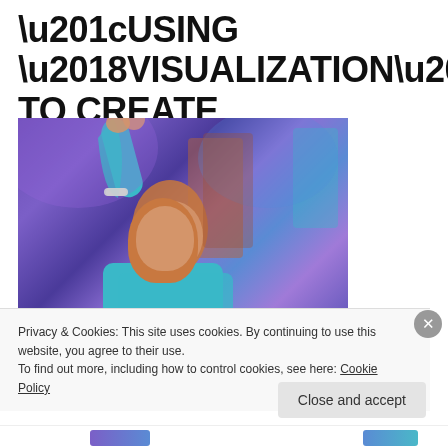“USING ‘VISUALIZATION’ TO CREATE RESULTS!”
[Figure (photo): A woman in a teal/turquoise sequined outfit raising her right arm up, smiling, against a purple/blue stage background with colored lighting]
Privacy & Cookies: This site uses cookies. By continuing to use this website, you agree to their use.
To find out more, including how to control cookies, see here: Cookie Policy
Close and accept